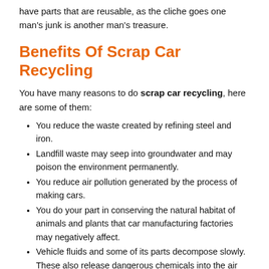have parts that are reusable, as the cliche goes one man's junk is another man's treasure.
Benefits Of Scrap Car Recycling
You have many reasons to do scrap car recycling, here are some of them:
You reduce the waste created by refining steel and iron.
Landfill waste may seep into groundwater and may poison the environment permanently.
You reduce air pollution generated by the process of making cars.
You do your part in conserving the natural habitat of animals and plants that car manufacturing factories may negatively affect.
Vehicle fluids and some of its parts decompose slowly. These also release dangerous chemicals into the air and land. That is why it is better to recycle to reduce damage to the environment.
Recycled and reused parts may benefit others. Some car parts